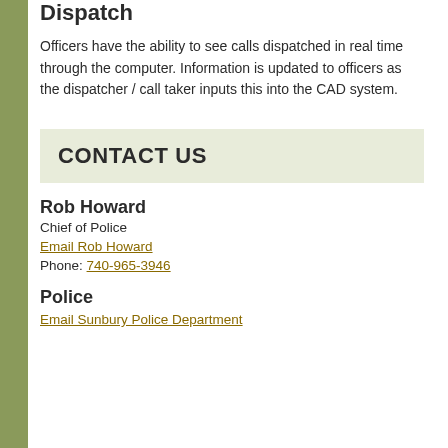Dispatch
Officers have the ability to see calls dispatched in real time through the computer. Information is updated to officers as the dispatcher / call taker inputs this into the CAD system.
CONTACT US
Rob Howard
Chief of Police
Email Rob Howard
Phone: 740-965-3946
Police
Email Sunbury Police Department